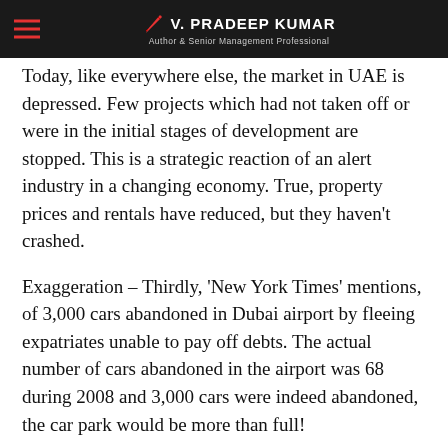V. PRADEEP KUMAR — Author & Senior Management Professional
Today, like everywhere else, the market in UAE is depressed. Few projects which had not taken off or were in the initial stages of development are stopped. This is a strategic reaction of an alert industry in a changing economy. True, property prices and rentals have reduced, but they haven't crashed.
Exaggeration – Thirdly, 'New York Times' mentions, of 3,000 cars abandoned in Dubai airport by fleeing expatriates unable to pay off debts. The actual number of cars abandoned in the airport was 68 during 2008 and 3,000 cars were indeed abandoned, the car park would be more than full!
Fourthly, it is alleged that companies are closing down, sacking thousands of people. Contradicting this, for the period October 2008-April 2009, the employment visas